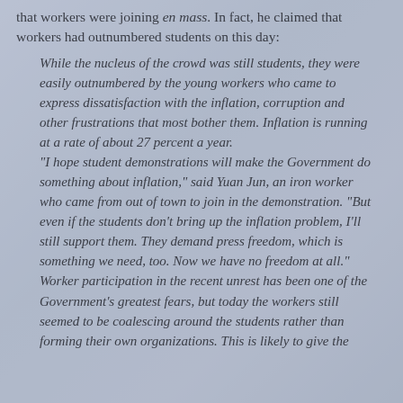that workers were joining en mass. In fact, he claimed that workers had outnumbered students on this day:
While the nucleus of the crowd was still students, they were easily outnumbered by the young workers who came to express dissatisfaction with the inflation, corruption and other frustrations that most bother them. Inflation is running at a rate of about 27 percent a year.
"I hope student demonstrations will make the Government do something about inflation," said Yuan Jun, an iron worker who came from out of town to join in the demonstration. "But even if the students don't bring up the inflation problem, I'll still support them. They demand press freedom, which is something we need, too. Now we have no freedom at all."
Worker participation in the recent unrest has been one of the Government's greatest fears, but today the workers still seemed to be coalescing around the students rather than forming their own organizations. This is likely to give the